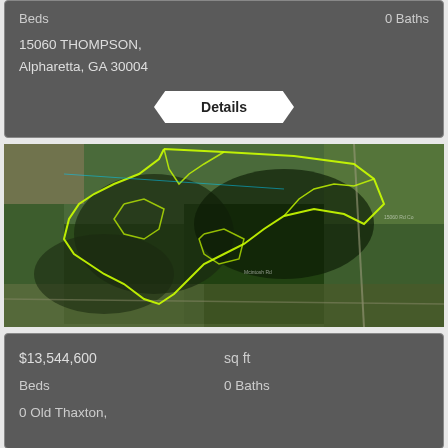Beds   0 Baths
15060 THOMPSON,
Alpharetta, GA 30004
Details
[Figure (map): Aerial satellite map view showing a large land parcel outlined in yellow/neon lines covering forested and rural land area]
$13,544,600   sq ft
Beds   0 Baths
0 Old Thaxton,